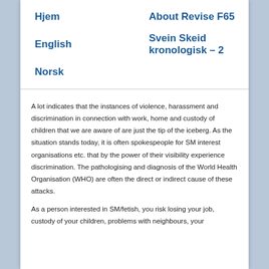Hjem   About Revise F65   English   Svein Skeid kronologisk – 2   Norsk
A lot indicates that the instances of violence, harassment and discrimination in connection with work, home and custody of children that we are aware of are just the tip of the iceberg. As the situation stands today, it is often spokespeople for SM interest organisations etc. that by the power of their visibility experience discrimination. The pathologising and diagnosis of the World Health Organisation (WHO) are often the direct or indirect cause of these attacks.
As a person interested in SM/fetish, you risk losing your job, custody of your children, problems with neighbours, your